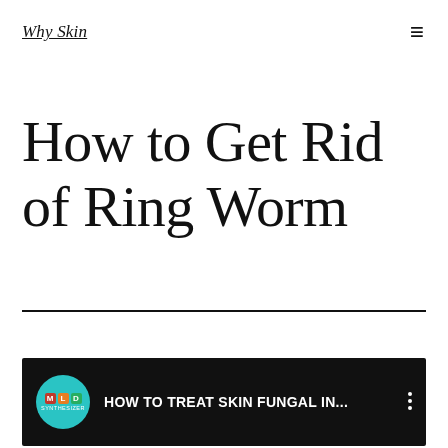Why Skin
How to Get Rid of Ring Worm
[Figure (screenshot): YouTube-style video thumbnail with teal circular channel icon showing letters M, L, D and text 'HOW TO TREAT SKIN FUNGAL IN...' on a black background]